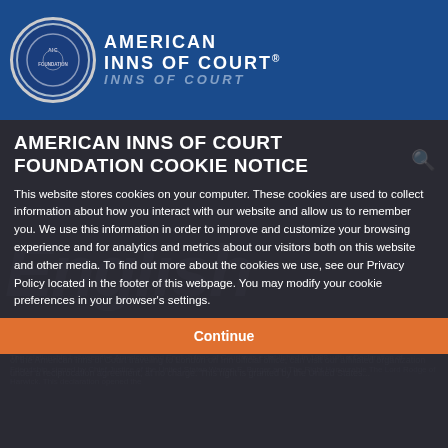[Figure (logo): American Inns of Court logo with circular seal on blue header bar]
AMERICAN INNS OF COURT FOUNDATION COOKIE NOTICE
This website stores cookies on your computer. These cookies are used to collect information about how you interact with our website and allow us to remember you. We use this information in order to improve and customize your browsing experience and for analytics and metrics about our visitors both on this website and other media. To find out more about the cookies we use, see our Privacy Policy located in the footer of this webpage. You may modify your cookie preferences in your browser's settings.